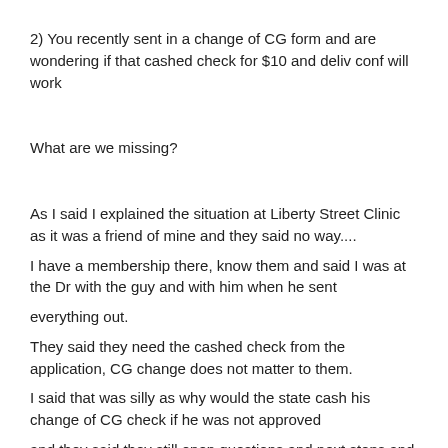2) You recently sent in a change of CG form and are wondering if that cashed check for $10 and deliv conf will work
What are we missing?
As I said I explained the situation at Liberty Street Clinic as it was a friend of mine and they said no way....
I have a membership there, know them and said I was at the Dr with the guy and with him when he sent
everything out.
They said they need the cashed check from the application, CG change does not matter to them.
I said that was silly as why would the state cash his change of CG check if he was not approved
and they said they still open questions and next steps and next trial...